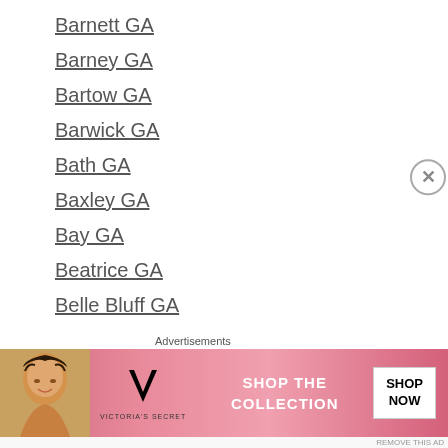Barnett GA
Barney GA
Bartow GA
Barwick GA
Bath GA
Baxley GA
Bay GA
Beatrice GA
Belle Bluff GA
Bellton GA
Bellville GA
Benevolence GA
Berlin GA
Bermuda GA
Bickley GA
Bishopville GA
[Figure (photo): Victoria's Secret advertisement banner with model, VS logo, 'SHOP THE COLLECTION' text, and 'SHOP NOW' button]
Advertisements